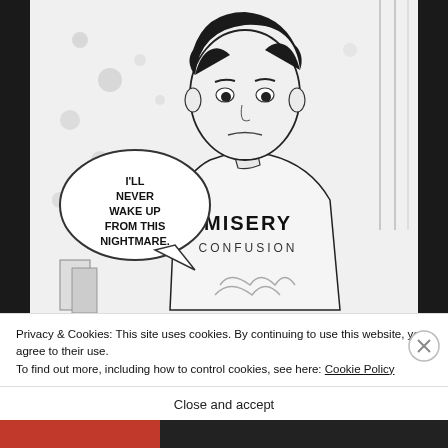[Figure (illustration): Black and white manga panel showing a young male character wearing a t-shirt that reads 'MISERY CONFUSION'. He has dark hair and a sad/serious expression. A speech bubble on the left says 'I'LL NEVER WAKE UP FROM THIS NIGHTMARE.' The background shows vertical lines suggesting a window or curtain.]
Privacy & Cookies: This site uses cookies. By continuing to use this website, you agree to their use.
To find out more, including how to control cookies, see here: Cookie Policy
Close and accept